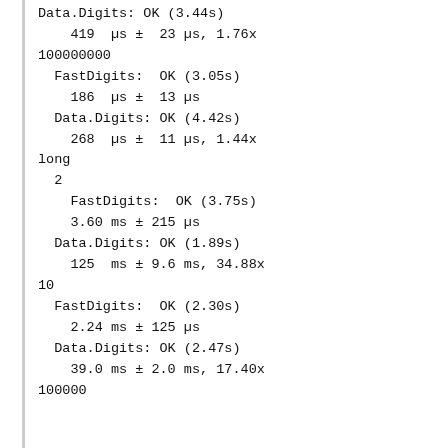Data.Digits: OK (3.44s)
    419  µs ±  23 µs, 1.76x
100000000
  FastDigits:  OK (3.05s)
    186  µs ±  13 µs
  Data.Digits: OK (4.42s)
    268  µs ±  11 µs, 1.44x
long
  2
    FastDigits:  OK (3.75s)
    3.60 ms ± 215 µs
  Data.Digits: OK (1.89s)
    125  ms ± 9.6 ms, 34.88x
10
  FastDigits:  OK (2.30s)
    2.24 ms ± 125 µs
  Data.Digits: OK (2.47s)
    39.0 ms ± 2.0 ms, 17.40x
100000